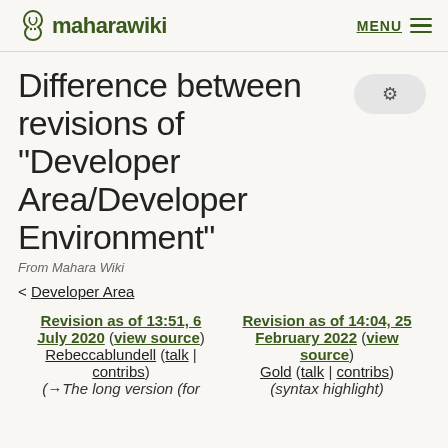maharawiki  MENU
Difference between revisions of "Developer Area/Developer Environment"
From Mahara Wiki
< Developer Area
| Revision as of 13:51, 6 July 2020 (view source) | Revision as of 14:04, 25 February 2022 (view source) |
| --- | --- |
| Rebeccablundell (talk | contribs) | Gold (talk | contribs) |
| (→The long version (for ... | (syntax highlight) |